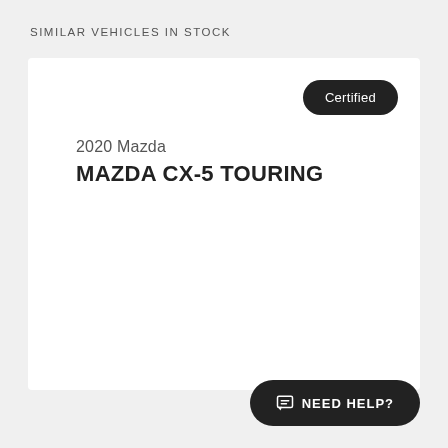SIMILAR VEHICLES IN STOCK
Certified
2020 Mazda
MAZDA CX-5 TOURING
NEED HELP?